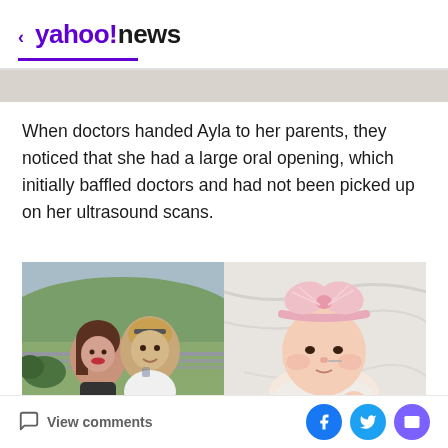< yahoo!news
When doctors handed Ayla to her parents, they noticed that she had a large oral opening, which initially baffled doctors and had not been picked up on her ultrasound scans.
[Figure (photo): Two side-by-side photos: left shows a young couple taking a selfie outdoors with a field and trees in background; right shows a baby wearing a pink bow headband lying on white fabric.]
View comments